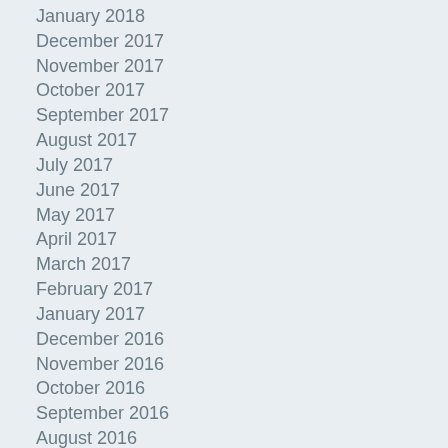January 2018
December 2017
November 2017
October 2017
September 2017
August 2017
July 2017
June 2017
May 2017
April 2017
March 2017
February 2017
January 2017
December 2016
November 2016
October 2016
September 2016
August 2016
July 2016
June 2016
November 2016